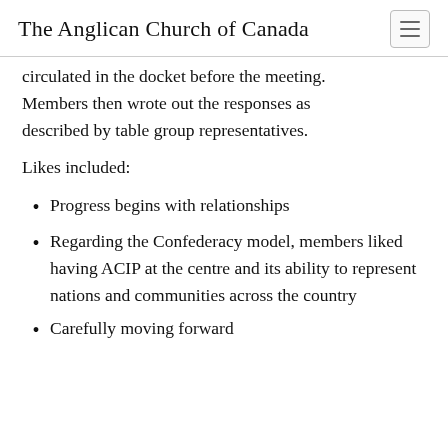The Anglican Church of Canada
circulated in the docket before the meeting. Members then wrote out the responses as described by table group representatives.
Likes included:
Progress begins with relationships
Regarding the Confederacy model, members liked having ACIP at the centre and its ability to represent nations and communities across the country
Carefully moving forward